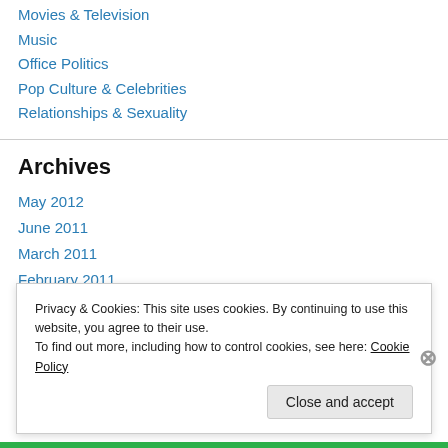Movies & Television
Music
Office Politics
Pop Culture & Celebrities
Relationships & Sexuality
Archives
May 2012
June 2011
March 2011
February 2011
January 2011
Privacy & Cookies: This site uses cookies. By continuing to use this website, you agree to their use.
To find out more, including how to control cookies, see here: Cookie Policy
Close and accept